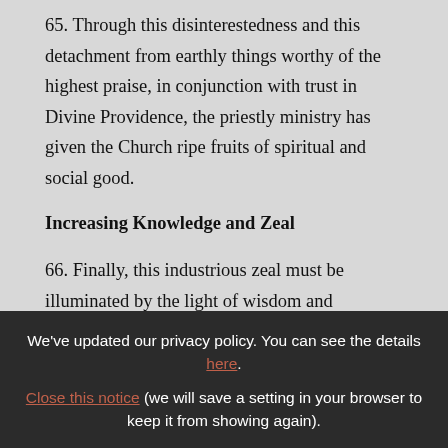65. Through this disinterestedness and this detachment from earthly things worthy of the highest praise, in conjunction with trust in Divine Providence, the priestly ministry has given the Church ripe fruits of spiritual and social good.
Increasing Knowledge and Zeal
66. Finally, this industrious zeal must be illuminated by the light of wisdom and discipline and inflamed by the fire of charity
We've updated our privacy policy. You can see the details here. Close this notice (we will save a setting in your browser to keep it from showing again).